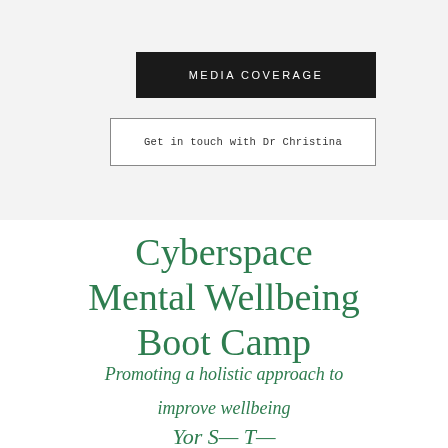MEDIA COVERAGE
Get in touch with Dr Christina
Cyberspace Mental Wellbeing Boot Camp
Promoting a holistic approach to improve wellbeing